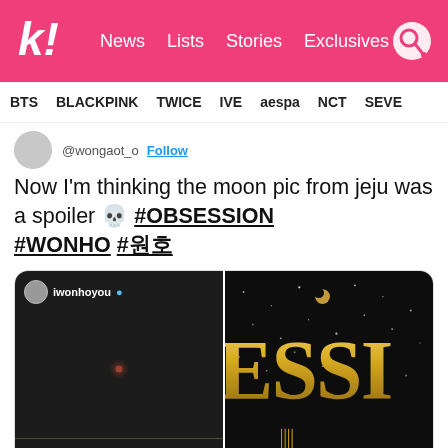k! News Lists Stories Exclusives
BTS BLACKPINK TWICE IVE aespa NCT SEVE
@wongaot_o Follow
Now I'm thinking the moon pic from jeju was a spoiler 💀 #OBSESSION #WONHO #원호
[Figure (screenshot): Two side-by-side images: left shows an Instagram story from iwonhoyou with a dark night sky and a small reddish moon dot; right shows a dark sparkly background with gold letters 'ESSI' partially visible and gold Roman numeral-style marks at bottom.]
11:27 AM · Jan 21, 2022